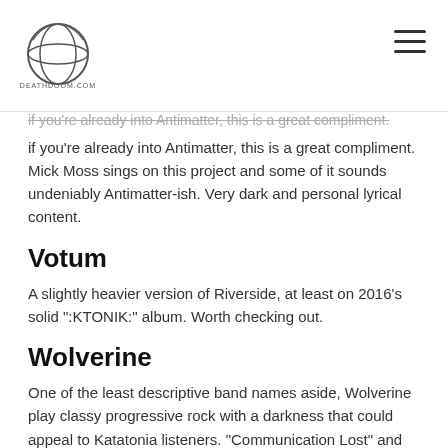deathdoom.com
if you're already into Antimatter, this is a great compliment. Mick Moss sings on this project and some of it sounds undeniably Antimatter-ish. Very dark and personal lyrical content.
Votum
A slightly heavier version of Riverside, at least on 2016's solid ":KTONIK:" album. Worth checking out.
Wolverine
One of the least descriptive band names aside, Wolverine play classy progressive rock with a darkness that could appeal to Katatonia listeners. "Communication Lost" and "Machina Viva" are two great albums to start out with.